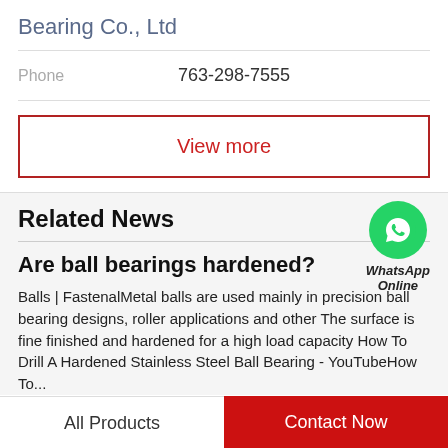Bearing Co., Ltd
Phone   763-298-7555
View more
Related News
[Figure (logo): WhatsApp green circle icon with phone handset symbol, labeled WhatsApp Online]
Are ball bearings hardened?
Balls | FastenalMetal balls are used mainly in precision ball bearing designs, roller applications and other The surface is fine finished and hardened for a high load capacity How To Drill A Hardened Stainless Steel Ball Bearing - YouTubeHow To...
All Products
Contact Now